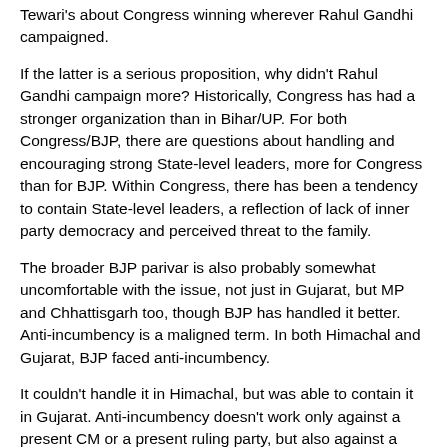Tewari's about Congress winning wherever Rahul Gandhi campaigned.
If the latter is a serious proposition, why didn't Rahul Gandhi campaign more? Historically, Congress has had a stronger organization than in Bihar/UP. For both Congress/BJP, there are questions about handling and encouraging strong State-level leaders, more for Congress than for BJP. Within Congress, there has been a tendency to contain State-level leaders, a reflection of lack of inner party democracy and perceived threat to the family.
The broader BJP parivar is also probably somewhat uncomfortable with the issue, not just in Gujarat, but MP and Chhattisgarh too, though BJP has handled it better. Anti-incumbency is a maligned term. In both Himachal and Gujarat, BJP faced anti-incumbency.
It couldn't handle it in Himachal, but was able to contain it in Gujarat. Anti-incumbency doesn't work only against a present CM or a present ruling party, but also against a sitting MLA.